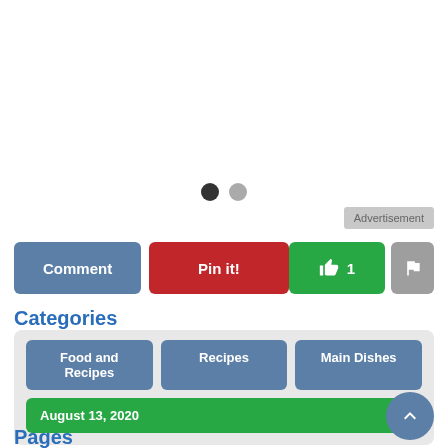[Figure (other): Carousel dots indicator: one dark filled circle and one light filled circle]
Advertisement
Comment  Pin it!  👍 1  🏴
Categories
Food and Recipes  Recipes  Main Dishes  August 13, 2020
Pages